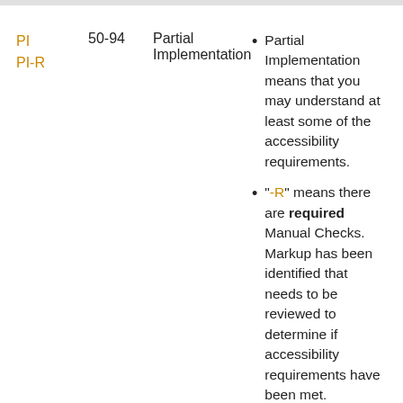PI PI-R  50-94  Partial Implementation  • Partial Implementation means that you may understand at least some of the accessibility requirements.
"-R" means there are required Manual Checks. Markup has been identified that needs to be reviewed to determine if accessibility requirements have been met.
Please re-read the accessibility requirement and review the techniques before trying to improve the